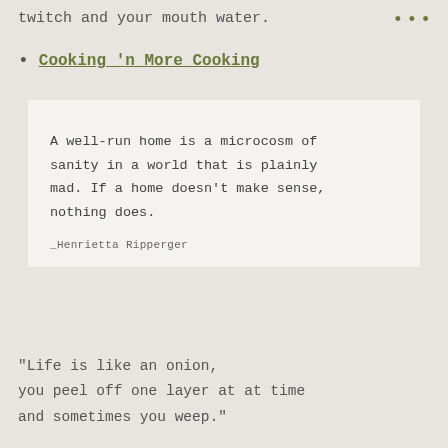twitch and your mouth water.
Cooking 'n More Cooking
A well-run home is a microcosm of sanity in a world that is plainly mad. If a home doesn't make sense, nothing does.

_Henrietta Ripperger
“Life is like an onion, you peel off one layer at at time and sometimes you weep.”